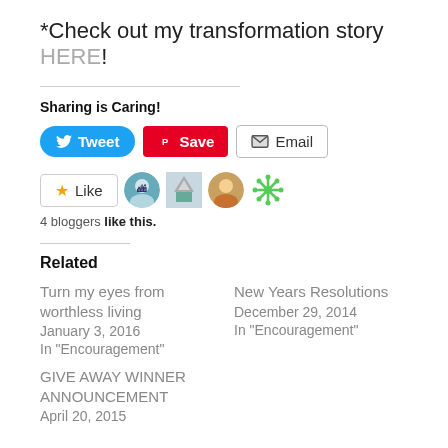*Check out my transformation story HERE!
Sharing is Caring!
[Figure (infographic): Share buttons: Tweet (blue), Save (red Pinterest), Email (white with icon)]
[Figure (infographic): Like button with star, and 4 blogger avatar icons]
4 bloggers like this.
Related
Turn my eyes from worthless living
January 3, 2016
In "Encouragement"
New Years Resolutions
December 29, 2014
In "Encouragement"
GIVE AWAY WINNER ANNOUNCEMENT
April 20, 2015